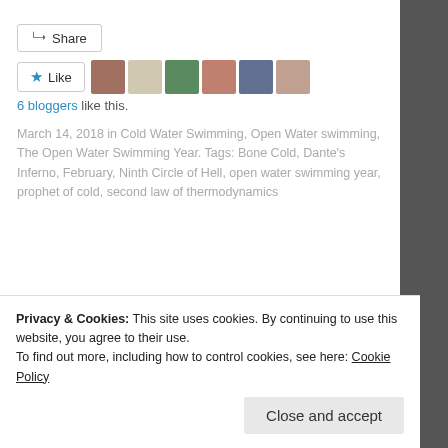Share
Like
6 bloggers like this.
March 14, 2018 in Cold Water Swimming, Open Water swimming, The Open Water Swimming Year. Tags: Bone Cold, Dante's Inferno, February, Ninth Circle of Hell, open water swimming year, prophet of cold, second law of thermodynamics
Related posts
Welcome to Cold Town. Population: Crazy
Privacy & Cookies: This site uses cookies. By continuing to use this website, you agree to their use.
To find out more, including how to control cookies, see here: Cookie Policy
Close and accept